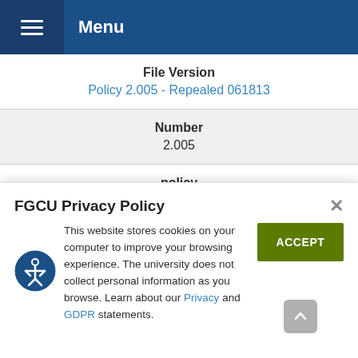Menu
| Field | Value |
| --- | --- |
| File Version | Policy 2.005 - Repealed 061813 |
| Number | 2.005 |
| policy | Academic Program Compacts (2.41) |
FGCU Privacy Policy
This website stores cookies on your computer to improve your browsing experience. The university does not collect personal information as you browse. Learn about our Privacy and GDPR statements.